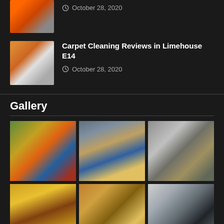[Figure (photo): Carpet being cleaned with steam cleaner, person in orange pants visible]
Carpet Cleaning Reviews in Limehouse E14
October 28, 2020
Gallery
[Figure (photo): Cleaning supplies - yellow rubber gloves, brushes, spray bottles on dark wooden floor]
[Figure (photo): Smiling woman cleaner with yellow gloves holding spray bottle and squeegee]
[Figure (photo): Professional floor polishing machine on tiled floor]
[Figure (photo): Paint brush and yellow bucket with cleaning solution]
[Figure (photo): Elegant hotel lobby interior with circular ceiling lights]
[Figure (photo): Office space with desk and chair by window]